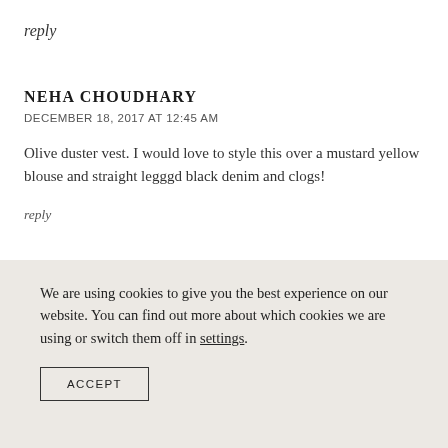reply
NEHA CHOUDHARY
DECEMBER 18, 2017 AT 12:45 AM
Olive duster vest. I would love to style this over a mustard yellow blouse and straight legggd black denim and clogs!
reply
REBECCA
We are using cookies to give you the best experience on our website. You can find out more about which cookies we are using or switch them off in settings.
ACCEPT